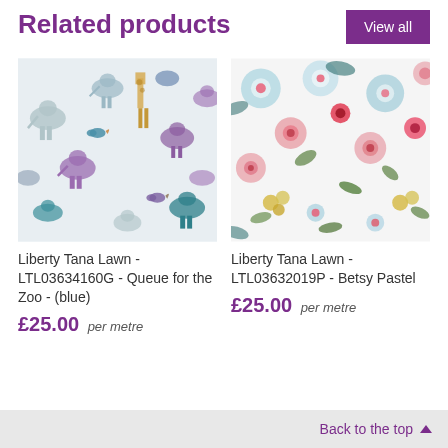Related products
View all
[Figure (photo): Liberty Tana Lawn fabric with colorful animal pattern - elephants, giraffes, birds in teal, purple and grey on white background]
Liberty Tana Lawn - LTL03634160G - Queue for the Zoo - (blue)
£25.00 per metre
[Figure (photo): Liberty Tana Lawn fabric with Betsy Pastel floral pattern - pink, blue and red flowers with green leaves on white background]
Liberty Tana Lawn - LTL03632019P - Betsy Pastel
£25.00 per metre
Back to the top